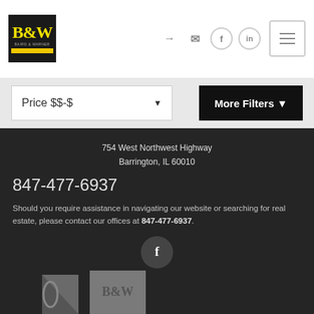[Figure (logo): B&W (Baird & Warner) real estate logo - black square with yellow B&W text and yellow bottom bar]
[Figure (infographic): Top-right navigation icons: login arrow, envelope, Facebook circle, LinkedIn circle, hamburger menu button]
Price $$-$
More Filters
754 West Northwest Highway
Barrington, IL 60010
847-477-6937
Should you require assistance in navigating our website or searching for real estate, please contact our offices at 847-477-6937.
[Figure (logo): Facebook 'f' icon in a dark circle]
[Figure (logo): Two gray logos at bottom: partial triangle shape and B&W gray logo]